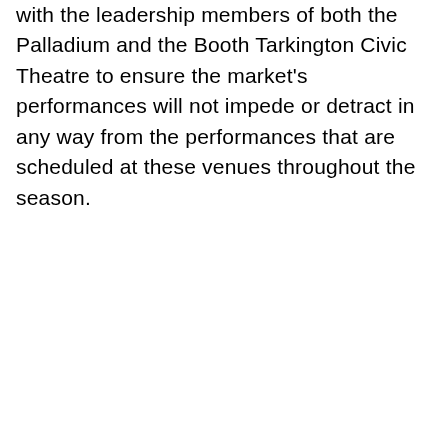with the leadership members of both the Palladium and the Booth Tarkington Civic Theatre to ensure the market's performances will not impede or detract in any way from the performances that are scheduled at these venues throughout the season.